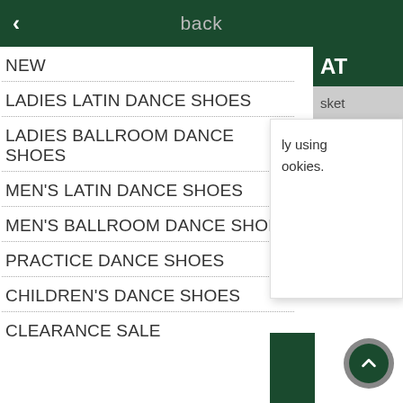back
NEW
LADIES LATIN DANCE SHOES
LADIES BALLROOM DANCE SHOES
MEN'S LATIN DANCE SHOES
MEN'S BALLROOM DANCE SHOES
PRACTICE DANCE SHOES
CHILDREN'S DANCE SHOES
CLEARANCE SALE
ly using ookies.
sket
AT
ian